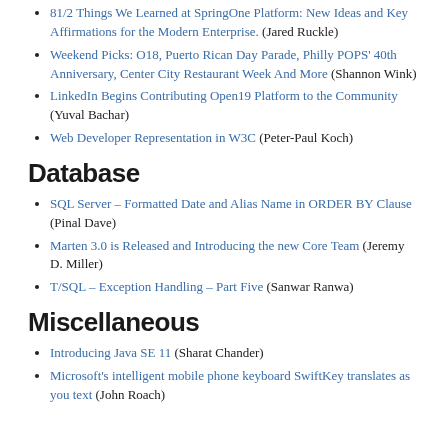81/2 Things We Learned at SpringOne Platform: New Ideas and Key Affirmations for the Modern Enterprise. (Jared Ruckle)
Weekend Picks: O18, Puerto Rican Day Parade, Philly POPS' 40th Anniversary, Center City Restaurant Week And More (Shannon Wink)
LinkedIn Begins Contributing Open19 Platform to the Community (Yuval Bachar)
Web Developer Representation in W3C (Peter-Paul Koch)
Database
SQL Server – Formatted Date and Alias Name in ORDER BY Clause (Pinal Dave)
Marten 3.0 is Released and Introducing the new Core Team (Jeremy D. Miller)
T/SQL – Exception Handling – Part Five (Sanwar Ranwa)
Miscellaneous
Introducing Java SE 11 (Sharat Chander)
Microsoft's intelligent mobile phone keyboard SwiftKey translates as you text (John Roach)